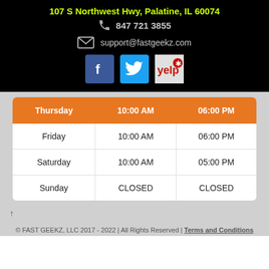107 S Northwest Hwy, Palatine, IL 60074
847 721 3855
support@fastgeekz.com
[Figure (logo): Facebook, Twitter, and Yelp social media icons]
| Day | Open | Close |
| --- | --- | --- |
| Thursday | 10:00 AM | 06:00 PM |
| Friday | 10:00 AM | 06:00 PM |
| Saturday | 10:00 AM | 05:00 PM |
| Sunday | CLOSED | CLOSED |
© FAST GEEKZ, LLC 2017 - 2022 | All Rights Reserved | Terms and Conditions